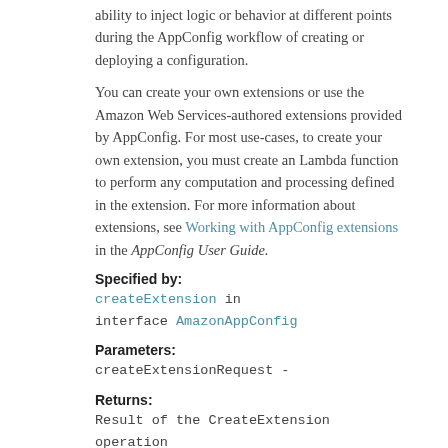ability to inject logic or behavior at different points during the AppConfig workflow of creating or deploying a configuration.
You can create your own extensions or use the Amazon Web Services-authored extensions provided by AppConfig. For most use-cases, to create your own extension, you must create an Lambda function to perform any computation and processing defined in the extension. For more information about extensions, see Working with AppConfig extensions in the AppConfig User Guide.
Specified by:
createExtension in interface AmazonAppConfig
Parameters:
createExtensionRequest -
Returns:
Result of the CreateExtension operation returned by the service.
Throws:
BadRequestException - The input fails to satisfy the constraints specified by an